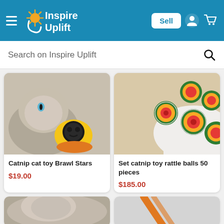Inspire Uplift — Sell, User, Cart
Search on Inspire Uplift
[Figure (photo): Cat playing with a catnip toy shaped like a skull on yellow background]
Catnip cat toy Brawl Stars
$19.00
[Figure (photo): Colorful crocheted rattle balls in red, orange, yellow, and green on white cloth]
Set catnip toy rattle balls 50 pieces
$185.00
[Figure (photo): Partial view of cat — bottom product card left]
[Figure (photo): Partial view of orange toy — bottom product card right]